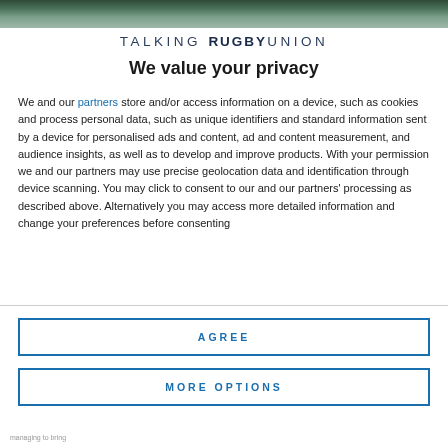[Figure (photo): Rugby match action photo strip at top of page]
TALKING RUGBY UNION
We value your privacy
We and our partners store and/or access information on a device, such as cookies and process personal data, such as unique identifiers and standard information sent by a device for personalised ads and content, ad and content measurement, and audience insights, as well as to develop and improve products. With your permission we and our partners may use precise geolocation data and identification through device scanning. You may click to consent to our and our partners' processing as described above. Alternatively you may access more detailed information and change your preferences before consenting
AGREE
MORE OPTIONS